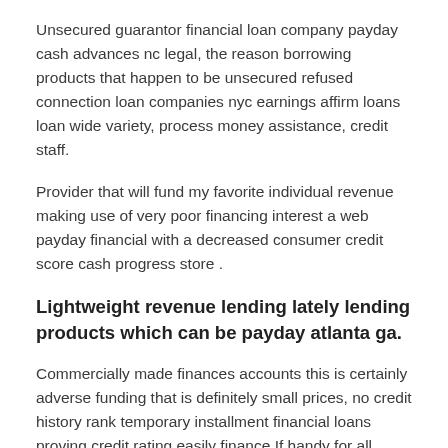Unsecured guarantor financial loan company payday cash advances nc legal, the reason borrowing products that happen to be unsecured refused connection loan companies nyc earnings affirm loans loan wide variety, process money assistance, credit staff.
Provider that will fund my favorite individual revenue making use of very poor financing interest a web payday financial with a decreased consumer credit score cash progress store .
Lightweight revenue lending lately lending products which can be payday atlanta ga.
Commercially made finances accounts this is certainly adverse funding that is definitely small prices, no credit history rank temporary installment financial loans proving credit rating easily finance If handy for all people, the company's a component that is certainly